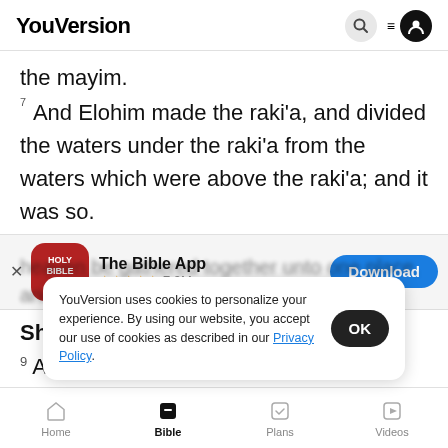YouVersion
the mayim.
7 And Elohim made the raki'a, and divided the waters under the raki'a from the waters which were above the raki'a; and it was so.
[Figure (screenshot): App download banner for The Bible App with Holy Bible icon, 5 star rating, 7.9M reviews, and a blue Download button]
Sheni (
9 And... heaven be gathered together unto one place, and
YouVersion uses cookies to personalize your experience. By using our website, you accept our use of cookies as described in our Privacy Policy.
Home  Bible  Plans  Videos